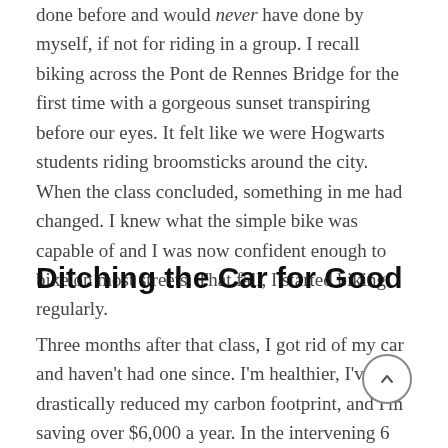done before and would never have done by myself, if not for riding in a group. I recall biking across the Pont de Rennes Bridge for the first time with a gorgeous sunset transpiring before our eyes. It felt like we were Hogwarts students riding broomsticks around the city. When the class concluded, something in me had changed. I knew what the simple bike was capable of and I was now confident enough to bike on most streets. That fall, I started biking regularly.
Ditching the Car for Good
Three months after that class, I got rid of my car and haven't had one since. I'm healthier, I've drastically reduced my carbon footprint, and I'm saving over $6,000 a year. In the intervening 6 years, I took two more intensive bike classes that exponentially increased my confidence and